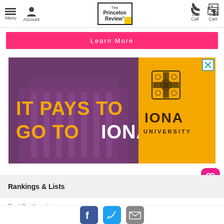Menu | Account | The Princeton Review | Call | Cart
Learn More
[Figure (illustration): Iona University advertisement banner: purple-tinted photo of a classical building with text 'IT PAYS TO GO TO IONA' in yellow/white, Iona University logo on orange background on the right side. An X close button in the top right corner.]
Rankings & Lists
Best Southeastern
Social sharing: Facebook, Twitter, Email